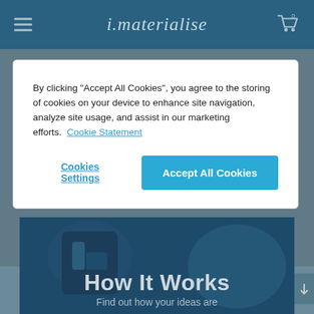i.materialise
By clicking "Accept All Cookies", you agree to the storing of cookies on your device to enhance site navigation, analyze site usage, and assist in our marketing efforts.  Cookie Statement
Cookies Settings
Accept All Cookies
[Figure (photo): Dark blue-toned photo of a person working with industrial/3D printing equipment]
How It Works
Find out how your ideas are